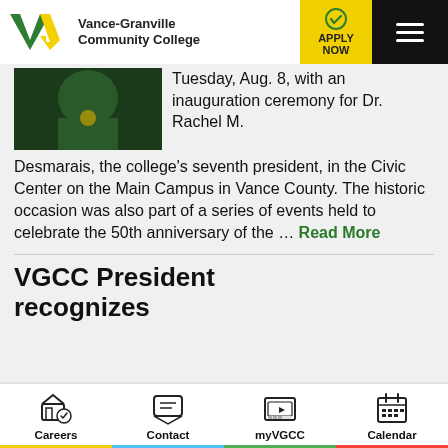Vance-Granville Community College
[Figure (photo): Photo of person in green academic regalia with medallion]
Tuesday, Aug. 8, with an inauguration ceremony for Dr. Rachel M. Desmarais, the college's seventh president, in the Civic Center on the Main Campus in Vance County. The historic occasion was also part of a series of events held to celebrate the 50th anniversary of the … Read More
VGCC President recognizes
Careers  Contact  myVGCC  Calendar